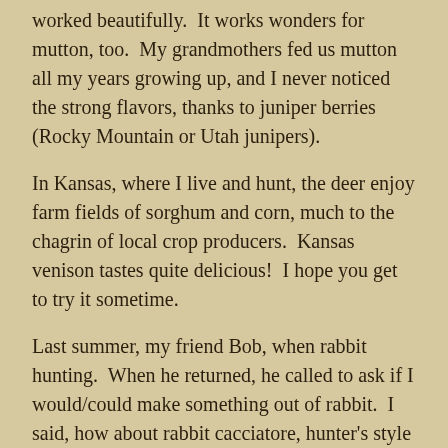worked beautifully.  It works wonders for mutton, too.  My grandmothers fed us mutton all my years growing up, and I never noticed the strong flavors, thanks to juniper berries (Rocky Mountain or Utah junipers).
In Kansas, where I live and hunt, the deer enjoy farm fields of sorghum and corn, much to the chagrin of local crop producers.  Kansas venison tastes quite delicious!  I hope you get to try it sometime.
Last summer, my friend Bob, when rabbit hunting.  When he returned, he called to ask if I would/could make something out of rabbit.  I said, how about rabbit cacciatore, hunter's style rabbit?  I use passata (rich, strained tomatoes), garlic, fresh rosemary and basil, mushrooms, and white wine.  I cut the rabbit in pieces